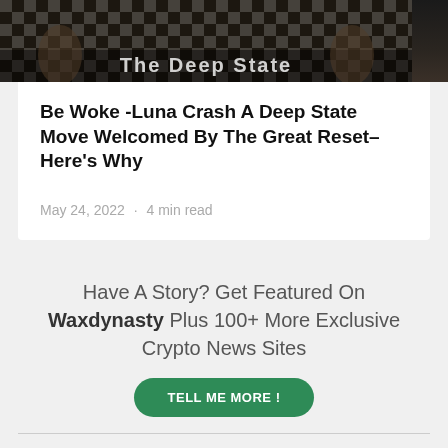[Figure (photo): Dark moody hero image with silhouetted figures on a checkered floor, partially visible with overlaid white text at bottom]
Be Woke -Luna Crash A Deep State Move Welcomed By The Great Reset– Here's Why
May 24, 2022  ·  4 min read
Have A Story? Get Featured On Waxdynasty Plus 100+ More Exclusive Crypto News Sites
TELL ME MORE !
© Copyright waxp
TERMS OF SERVICE & PRIVACY POLICY | DISCLAIMER